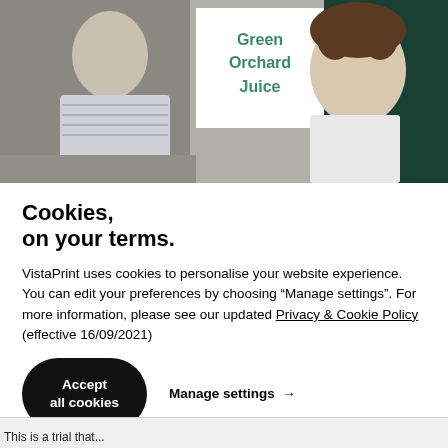[Figure (photo): Two people at a juice bar stand. A sign reading 'Green Orchard Juice' is visible in teal text on white background. A dark green board with white text listing fruits is on the right.]
Cookies,
on your terms.
VistaPrint uses cookies to personalise your website experience. You can edit your preferences by choosing “Manage settings”. For more information, please see our updated Privacy & Cookie Policy (effective 16/09/2021)
Accept all cookies   Manage settings →
This is a trial that...